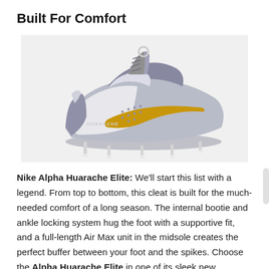Built For Comfort
[Figure (photo): Nike Alpha Huarache Elite baseball cleat in silver/grey and gold colorway, high-top style with metal spikes, shown from side profile on light grey background.]
Nike Alpha Huarache Elite: We'll start this list with a legend. From top to bottom, this cleat is built for the much-needed comfort of a long season. The internal bootie and ankle locking system hug the foot with a supportive fit, and a full-length Air Max unit in the midsole creates the perfect buffer between your foot and the spikes. Choose the Alpha Huarache Elite in one of its sleek new colorways and link up your look with the